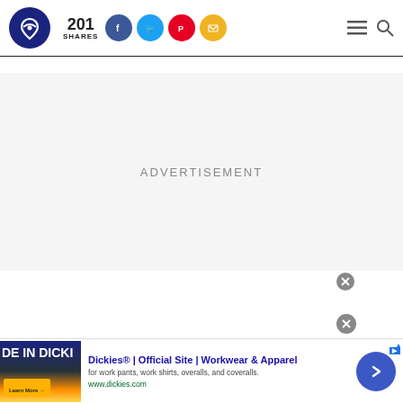201 SHARES
ADVERTISEMENT
[Figure (screenshot): Advertisement banner for Dickies with thumbnail image showing text 'DE IN DICKI', ad title 'Dickies® | Official Site | Workwear & Apparel', description 'for work pants, work shirts, overalls, and coveralls.', URL 'www.dickies.com']